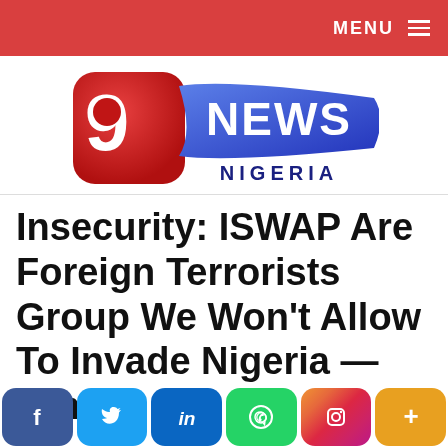MENU ≡
[Figure (logo): 9 News Nigeria logo — red rounded square with white '9' digit and red circle, blue swept banner with white 'NEWS' text, and 'NIGERIA' in dark blue below]
Insecurity: ISWAP Are Foreign Terrorists Group We Won't Allow To Invade Nigeria — Army
[Figure (infographic): Social media share buttons row: Facebook (blue), Twitter (light blue), LinkedIn (dark blue), WhatsApp (green), Instagram (gradient), More/Plus (orange)]